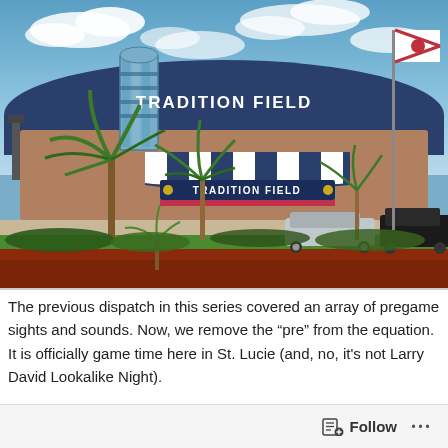[Figure (photo): Exterior of Tradition Field baseball stadium in St. Lucie, Florida. The stadium has a blue and white striped awning over the entrance, with 'TRADITION FIELD' signage. Palm trees are in the foreground, a Florida state flag flies on a pole to the right, and a silver car is parked near the entrance. Red mulch landscaping in the front.]
The previous dispatch in this series covered an array of pregame sights and sounds. Now, we remove the “pre” from the equation. It is officially game time here in St. Lucie (and, no, it's not Larry David Lookalike Night).